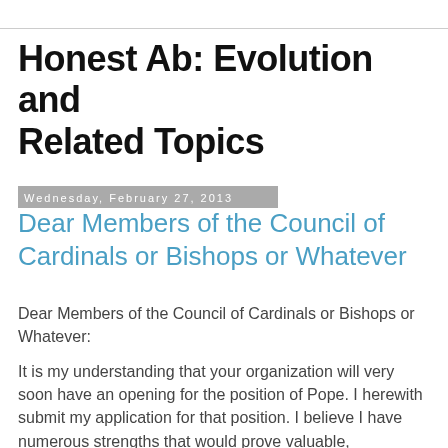Honest Ab: Evolution and Related Topics
Wednesday, February 27, 2013
Dear Members of the Council of Cardinals or Bishops or Whatever
Dear Members of the Council of Cardinals or Bishops or Whatever:
It is my understanding that your organization will very soon have an opening for the position of Pope. I herewith submit my application for that position. I believe I have numerous strengths that would prove valuable, invigorating, and profitable to your organization.